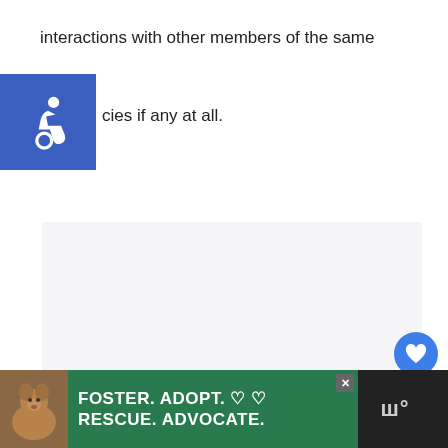interactions with other members of the same
[Figure (illustration): Blue square accessibility/wheelchair icon badge]
cies if any at all.
[Figure (screenshot): Light gray content area placeholder with three dots at bottom, and social interaction buttons (heart/like button, count of 2, share button) on the right side]
[Figure (infographic): Dark bottom bar advertisement: dog photo on left, green background with bold white text FOSTER. ADOPT. RESCUE. ADVOCATE. with heart icons and close button, logo on right showing stylized W with degree symbol]